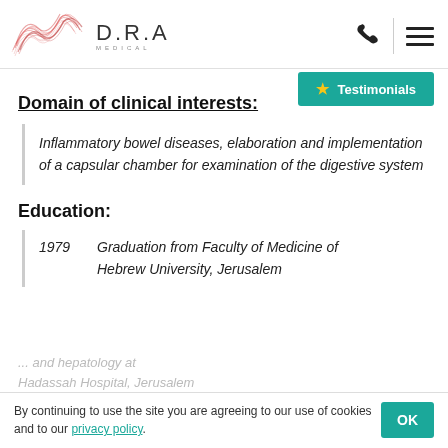D.R.A MEDICAL — header with logo, phone icon, menu icon
★ Testimonials
Domain of clinical interests:
Inflammatory bowel diseases, elaboration and implementation of a capsular chamber for examination of the digestive system
Education:
1979   Graduation from Faculty of Medicine of Hebrew University, Jerusalem
By continuing to use the site you are agreeing to our use of cookies and to our privacy policy.
and hepatology at Hadassah Hospital, Jerusalem